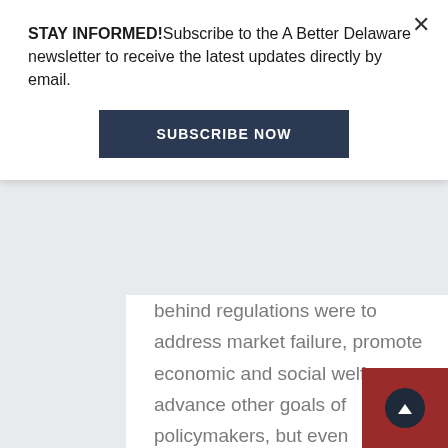STAY INFORMED!Subscribe to the A Better Delaware newsletter to receive the latest updates directly by email.
[Figure (other): Subscribe Now button — dark navy rectangle with white uppercase text SUBSCRIBE NOW]
behind regulations were to address market failure, promote economic and social welfare, or advance other goals of policymakers, but even regulations with the best intentions have raised concerns for their unintended consequences. Additionally, many federal and state mandates have
[Figure (other): Scroll-to-top button: dark red square background with dark navy circle containing a white upward chevron arrow]